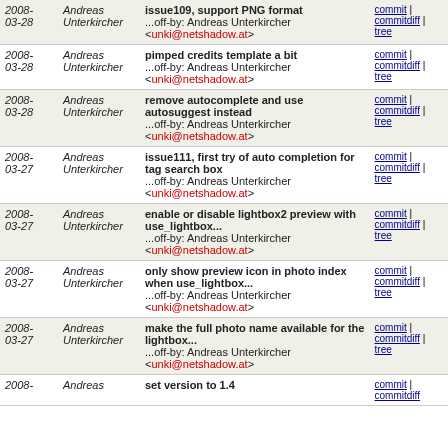| Date | Author | Message | Links |
| --- | --- | --- | --- |
| 2008-03-28 | Andreas Unterkircher | issue109, support PNG format ...off-by: Andreas Unterkircher <unki@netshadow.at> | commit | commitdiff | tree |
| 2008-03-28 | Andreas Unterkircher | pimped credits template a bit ...off-by: Andreas Unterkircher <unki@netshadow.at> | commit | commitdiff | tree |
| 2008-03-28 | Andreas Unterkircher | remove autocomplete and use autosuggest instead ...off-by: Andreas Unterkircher <unki@netshadow.at> | commit | commitdiff | tree |
| 2008-03-27 | Andreas Unterkircher | issue111, first try of auto completion for tag search box ...off-by: Andreas Unterkircher <unki@netshadow.at> | commit | commitdiff | tree |
| 2008-03-27 | Andreas Unterkircher | enable or disable lightbox2 preview with use_lightbox... ...off-by: Andreas Unterkircher <unki@netshadow.at> | commit | commitdiff | tree |
| 2008-03-27 | Andreas Unterkircher | only show preview icon in photo index when use_lightbox... ...off-by: Andreas Unterkircher <unki@netshadow.at> | commit | commitdiff | tree |
| 2008-03-27 | Andreas Unterkircher | make the full photo name available for the lightbox... ...off-by: Andreas Unterkircher <unki@netshadow.at> | commit | commitdiff | tree |
| 2008- | Andreas | set version to 1.4 | commit | commitdiff |